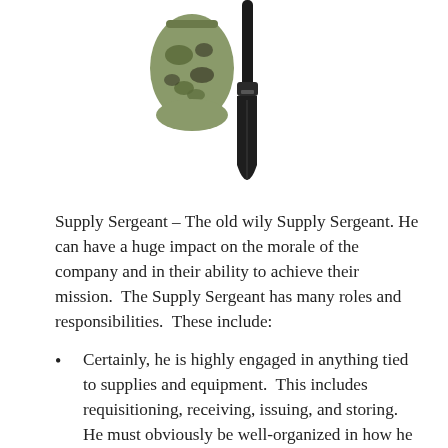[Figure (photo): Two military entrenching tools (folding shovels) — one in a camouflage pouch and one bare black shovel — photographed on a white background.]
Supply Sergeant – The old wily Supply Sergeant. He can have a huge impact on the morale of the company and in their ability to achieve their mission.  The Supply Sergeant has many roles and responsibilities.  These include:
Certainly, he is highly engaged in anything tied to supplies and equipment.  This includes requisitioning, receiving, issuing, and storing.  He must obviously be well-organized in how he executes each of these critical tasks.  The results of a poorly